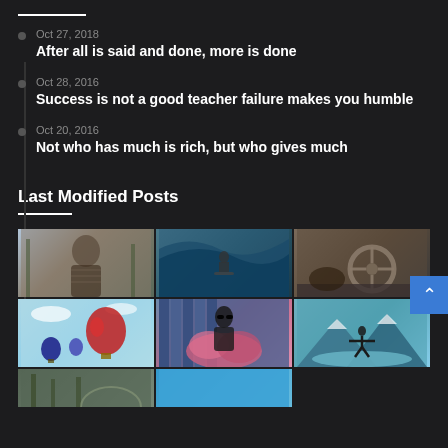Oct 27, 2018 — After all is said and done, more is done
Oct 28, 2016 — Success is not a good teacher failure makes you humble
Oct 20, 2016 — Not who has much is rich, but who gives much
Last Modified Posts
[Figure (photo): Man with headphones outdoors among trees]
[Figure (photo): Surfer inside a large ocean wave]
[Figure (photo): Person's hand on a Mercedes-Benz steering wheel]
[Figure (photo): Hot air balloons in blue sky with clouds]
[Figure (photo): Person with sunglasses standing in pink smoke cloud]
[Figure (photo): Person jumping with arms open in mountain lake landscape]
[Figure (photo): Partial view of forest/building]
[Figure (photo): Partial view of cyan/teal background scene]